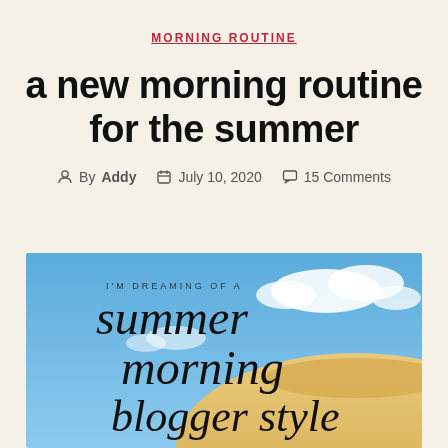MORNING ROUTINE
a new morning routine for the summer
By Addy  July 10, 2020  15 Comments
[Figure (photo): Blog post header image with blue sky, clouds, and a straw hat. Overlaid cursive script text reads 'I'M DREAMING OF A summer morning blogger style']